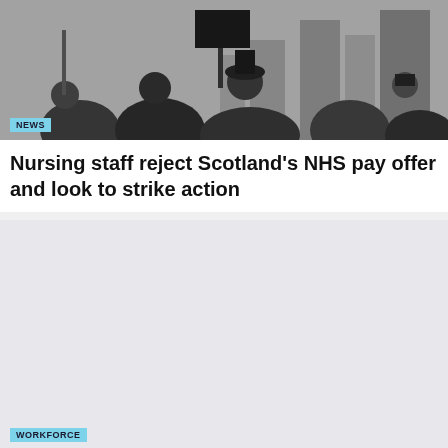[Figure (photo): Black and white photograph of protest crowd, people holding signs, viewed from behind]
NEWS
Nursing staff reject Scotland's NHS pay offer and look to strike action
[Figure (photo): Light grey placeholder image for second article]
WORKFORCE
Poll suggests Scotland's nursing staff support strike